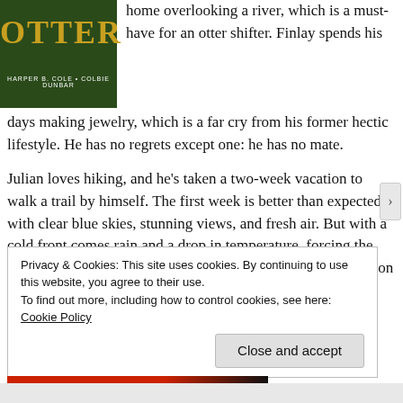[Figure (illustration): Book cover showing 'OTTER' title in gold letters on dark green background, authors Harper B. Cole and Colbie Dunbar]
home overlooking a river, which is a must-have for an otter shifter. Finlay spends his days making jewelry, which is a far cry from his former hectic lifestyle. He has no regrets except one: he has no mate.
Julian loves hiking, and he's taken a two-week vacation to walk a trail by himself. The first week is better than expected with clear blue skies, stunning views, and fresh air. But with a cold front comes rain and a drop in temperature, forcing the omega to stay in his tent, and gives him ample time to question his life choices.
Privacy & Cookies: This site uses cookies. By continuing to use this website, you agree to their use.
To find out more, including how to control cookies, see here: Cookie Policy
Close and accept